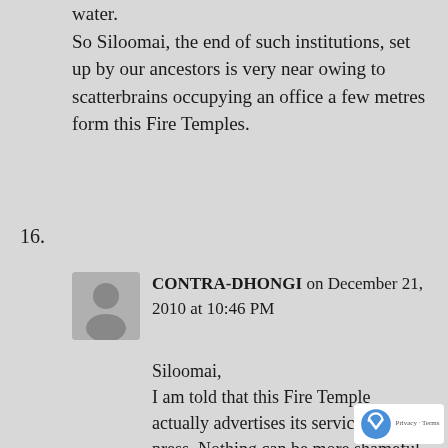water.
So Siloomai, the end of such institutions, set up by our ancestors is very near owing to scatterbrains occupying an office a few metres form this Fire Temples.
16.
CONTRA-DHONGI on December 21, 2010 at 10:46 PM
Siloomai,
I am told that this Fire Temple actually advertises its services in press. Nothing can be more shameful than this. And this Fire Temple survives on ‘income’ out of sale of Well water to water Tankers, 24 X 7. God knows what money accrue...